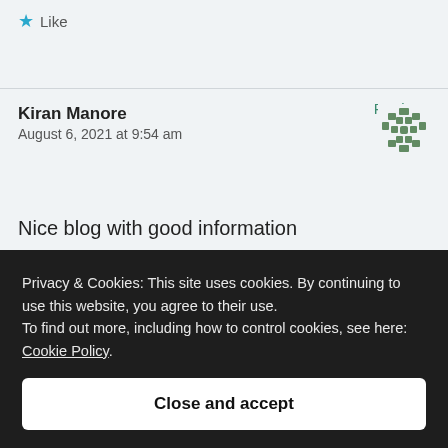★ Like
Reply
Kiran Manore
August 6, 2021 at 9:54 am
Nice blog with good information
Privacy & Cookies: This site uses cookies. By continuing to use this website, you agree to their use.
To find out more, including how to control cookies, see here: Cookie Policy.

Close and accept